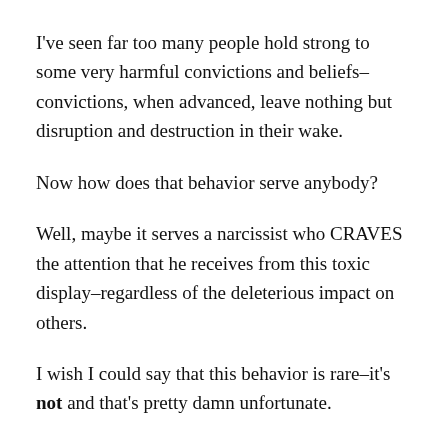I've seen far too many people hold strong to some very harmful convictions and beliefs–convictions, when advanced, leave nothing but disruption and destruction in their wake.
Now how does that behavior serve anybody?
Well, maybe it serves a narcissist who CRAVES the attention that he receives from this toxic display–regardless of the deleterious impact on others.
I wish I could say that this behavior is rare–it's not and that's pretty damn unfortunate.
But there is good news!